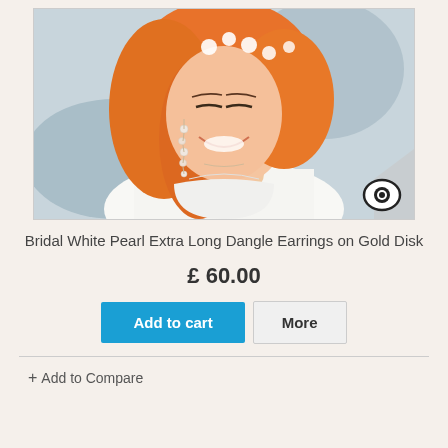[Figure (photo): Woman with bright orange hair wearing white bridal accessories and pearl dangle earrings, smiling, close-up portrait]
Bridal White Pearl Extra Long Dangle Earrings on Gold Disk
£ 60.00
Add to cart
More
+ Add to Compare